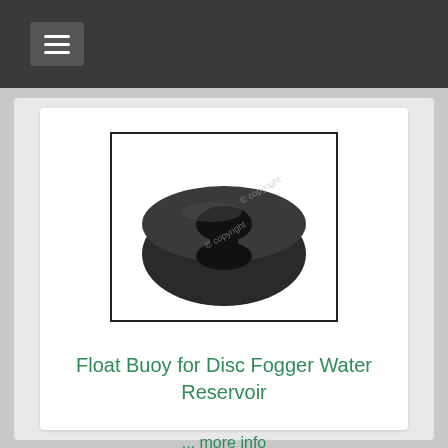[Figure (photo): Black circular float buoy component with a hole/slot in the center, viewed from a slight angle. Has a copyright watermark overlay. White background, framed with a thin black border.]
Float Buoy for Disc Fogger Water Reservoir
... more info